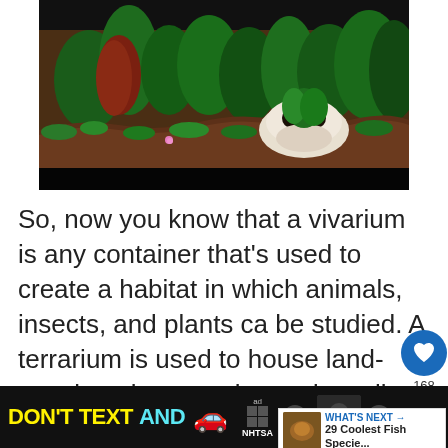[Figure (photo): Photo of a vivarium or terrarium with lush green plants, reddish-brown substrate/soil, and a white skull decoration surrounded by plants. Dark background walls visible.]
So, now you know that a vivarium is any container that's used to create a habitat in which animals, insects, and plants can be studied. A terrarium is used to house land-growing plant species and small creatures, such as insects, frogs,